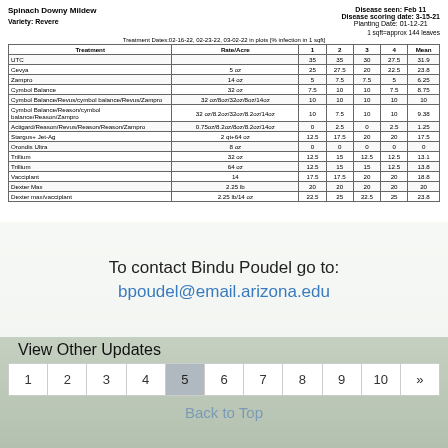Spinach Downy Mildew
Disease seen: Feb 11
Disease scoring date: 3-15-21
Planting Date: 01-12-21
Variety: Revere
1 sqft=approx 144 leaves
Treatment Dates:02-16-22, 02-23-22, 03-02-22 in plots [% infection in 1 sqft]
| Treatment | Rate/Acre | 1 | 2 | 3 | 4 | Mean |
| --- | --- | --- | --- | --- | --- | --- |
| UTC |  | 35 | 35 | 30 | 27.5 | 31.9 |
| Cevya | 5 oz | 25 | 27.5 | 20 | 22.5 | 23.8 |
| Zampro | 14 oz | 5 | 7.5 | 7.5 | 5 | 6.25 |
| Cymbol Balance | 32 oz | 7.5 | 10 | 10 | 7.5 | 8.75 |
| Cymbol Balance/Revus/cymbol balance/Revus/Zampro | 32 oz/8oz/32oz/8oz/14oz | 10 | 10 | 10 | 10 | 10 |
| Cymbol Balance/Reason/cymbol balance/Reason/Zampro | 32 oz/8.2oz/32oz/8.2oz/14oz | 10 | 7.5 | 10 | 10 | 9.38 |
| Actigard/Reason/Revus/Reason/Reason/Zampro | 0.75oz/8.2oz/8oz/8.2oz/14oz | 0 | 2.5 | 0 | 2.5 | 1.25 |
| Stargus+ Jet-Ag | 2 qt+64 oz | 12.5 | 17.5 | 20 | 20 | 17.5 |
| Orondis Ultra | 8 oz | 0 | 0 | 0 | 0 | 0 |
| Trillium | 32 oz | 12.5 | 15 | 12.5 | 12.5 | 13.1 |
| Trillium | 64 oz | 12.5 | 15 | 15 | 12.5 | 13.8 |
| Vacciplant | 14 | 17.5 | 17.5 | 20 | 20 | 18.8 |
| Dexter Max | 2.25 lb | 20 | 20 | 20 | 20 | 20 |
| Dexter max/vacciplant | 2.25 lb/14 oz | 22.5 | 25 | 22.5 | 25 | 23.8 |
To contact Bindu Poudel go to:
bpoudel@email.arizona.edu
View Other Updates
1  2  3  4  5  6  7  8  9  10  »
Back to Top